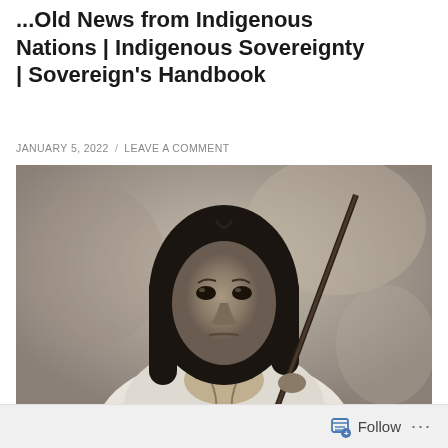...Old News from Indigenous Nations | Indigenous Sovereignty | Sovereign's Handbook
JANUARY 5, 2022 / LEAVE A COMMENT
[Figure (photo): Black and white historical photograph of a Native American individual with long dark hair, wearing light-colored clothing and holding a rifle, facing the camera with a serious expression.]
Follow ...